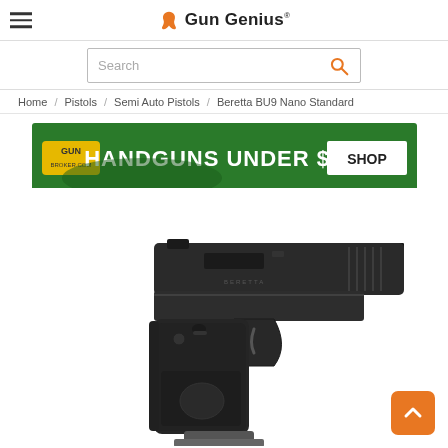Gun Genius
Search
Home / Pistols / Semi Auto Pistols / Beretta BU9 Nano Standard
[Figure (photo): Advertisement banner: HANDGUNS UNDER $400 SHOP - Gun Broker.com, green background with gun imagery]
[Figure (photo): Beretta BU9 Nano Standard pistol, black, shown in right-side profile against white background]
[Figure (other): Back to top button, orange square with upward chevron arrow]